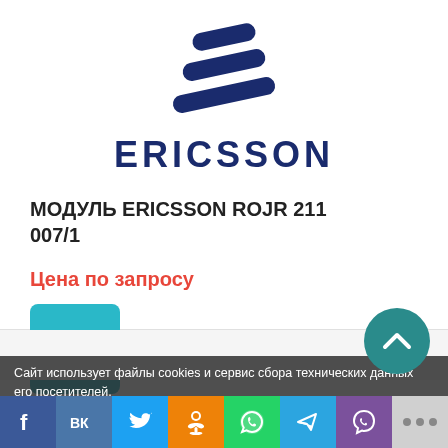[Figure (logo): Ericsson logo — three curved parallel bars in dark navy blue, stacked diagonally, above the text ERICSSON in large bold navy letters]
МОДУЛЬ ERICSSON ROJR 211 007/1
Цена по запросу
[Figure (other): Teal square button with a right-pointing chevron arrow]
Сайт использует файлы cookies и сервис сбора технических данных его посетителей.
Продолжая использовать данный ресурс, вы автоматически